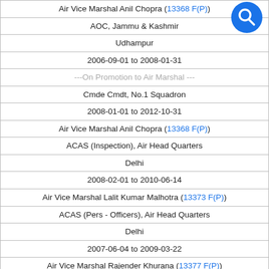| Air Vice Marshal Anil Chopra (13368 F(P)) |
| AOC, Jammu & Kashmir |
| Udhampur |
| 2006-09-01 to 2008-01-31 |
| ---On Promotion to Air Marshal --- |
| Cmde Cmdt, No.1 Squadron |
| 2008-01-01 to 2012-10-31 |
| Air Vice Marshal Anil Chopra (13368 F(P)) |
| ACAS (Inspection), Air Head Quarters |
| Delhi |
| 2008-02-01 to 2010-06-14 |
| Air Vice Marshal Lalit Kumar Malhotra (13373 F(P)) |
| ACAS (Pers - Officers), Air Head Quarters |
| Delhi |
| 2007-06-04 to 2009-03-22 |
| Air Vice Marshal Rajender Khurana (13377 F(P)) |